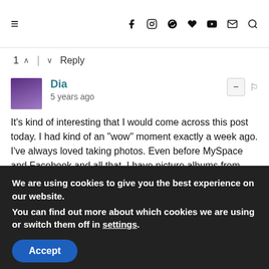≡  f  Instagram  Pinterest  ♥  YouTube  mail  search
1 ∧ | ∨  Reply
Dia
5 years ago
It's kind of interesting that I would come across this post today. I had kind of an "wow" moment exactly a week ago. I've always loved taking photos. Even before MySpace and Facebook and all that. I have picture albums from middle school and high school. Now it's really awesome because I have photos of people who are no longer with us. I recently started seeing someone I grew up with and we were looking at the photo albums and when talking
We are using cookies to give you the best experience on our website.
You can find out more about which cookies we are using or switch them off in settings.
Accept